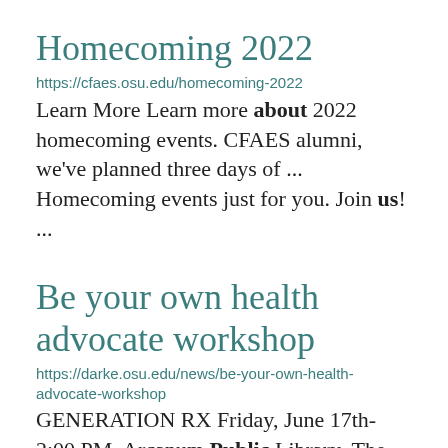Homecoming 2022
https://cfaes.osu.edu/homecoming-2022
Learn More Learn more about 2022 homecoming events. CFAES alumni, we've planned three days of ... Homecoming events just for you. Join us! ...
Be your own health advocate workshop
https://darke.osu.edu/news/be-your-own-health-advocate-workshop
GENERATION RX Friday, June 17th-  2:00 PM  Arcanum Public Library  The Generation Rx: Safe ... Medication